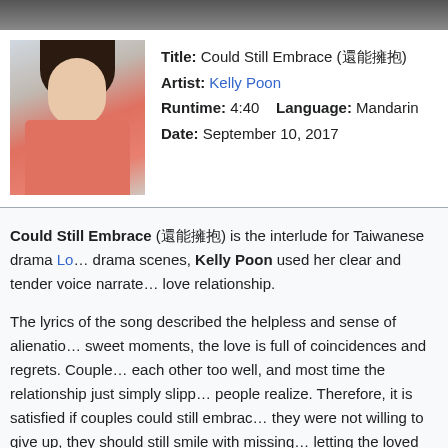[Figure (photo): Photo of Kelly Poon, a woman with dark hair wearing a red/coral top]
Title: Could Still Embrace (還能擁抱)
Artist: Kelly Poon
Runtime: 4:40   Language: Mandarin
Date: September 10, 2017
Could Still Embrace (還能擁抱) is the interlude for Taiwanese drama Lo... drama scenes, Kelly Poon used her clear and tender voice narrate... love relationship.
The lyrics of the song described the helpless and sense of alienatio... sweet moments, the love is full of coincidences and regrets. Couple... each other too well, and most time the relationship just simply slipp... people realize. Therefore, it is satisfied if couples could still embrac... they were not willing to give up, they should still smile with missing... letting the loved one find the one he loves is another type of happin...
Led by Nick Chou (周湯豪) and Summer Meng (孟耿如), the music video u...